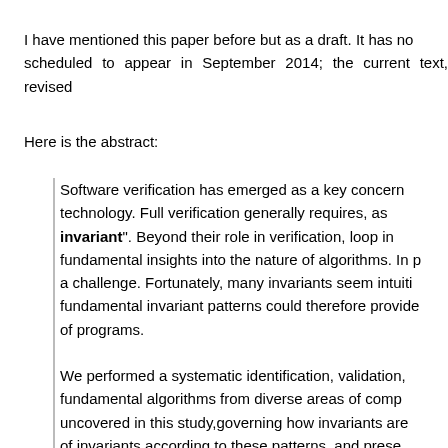I have mentioned this paper before but as a draft. It has now been scheduled to appear in September 2014; the current text, revised...
Here is the abstract:
Software verification has emerged as a key concern in technology. Full verification generally requires, as a... "loop invariant". Beyond their role in verification, loop invariants provide fundamental insights into the nature of algorithms. In practice, finding a challenge. Fortunately, many invariants seem intuitively... fundamental invariant patterns could therefore provide... of programs.

We performed a systematic identification, validation, ... fundamental algorithms from diverse areas of comp... uncovered in this study,governing how invariants are ... of invariants according to these patterns, and prese... discussion also shows the need for high-level specifi... the invariants and the corresponding algorithms hav...